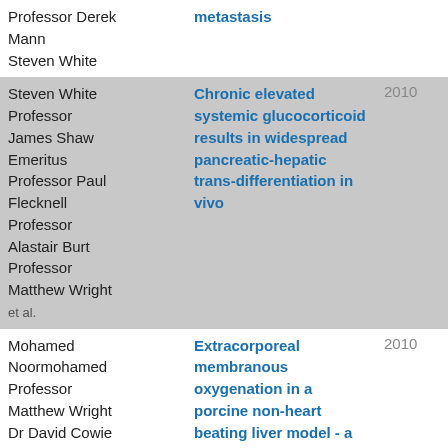| Authors | Title | Year |
| --- | --- | --- |
| Professor Derek Mann
Steven White | metastasis |  |
| Steven White
Professor James Shaw
Emeritus Professor Paul Flecknell
Professor Alastair Burt
Professor Matthew Wright
et al. | Chronic elevated systemic glucocorticoid results in widespread pancreatic-hepatic trans-differentiation in vivo | 2010 |
| Mohamed Noormohamed
Professor Matthew Wright
Dr David Cowie
Susan Stamp | Extracorporeal membranous oxygenation in a porcine non-heart beating liver model - a valuable tool for improving hepatocyte viability | 2010 |